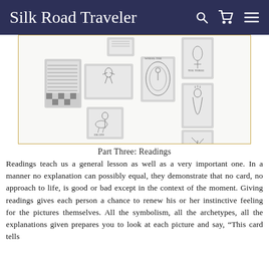Silk Road Traveler
[Figure (illustration): A collection of black-and-white tarot card illustrations arranged in a grid within a gold-bordered frame. The cards include various tarot imagery such as figures, symbols, and scenes typical of a tarot deck.]
Part Three: Readings
Readings teach us a general lesson as well as a very important one. In a manner no explanation can possibly equal, they demonstrate that no card, no approach to life, is good or bad except in the context of the moment. Giving readings gives each person a chance to renew his or her instinctive feeling for the pictures themselves. All the symbolism, all the archetypes, all the explanations given prepares you to look at each picture and say, “This card tells